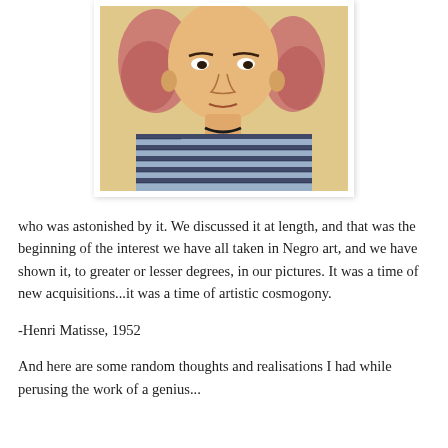[Figure (illustration): Painting of a young person with reddish-pink hair wearing a black and blue striped shirt, rendered in a Fauvist style reminiscent of Matisse]
who was astonished by it. We discussed it at length, and that was the beginning of the interest we have all taken in Negro art, and we have shown it, to greater or lesser degrees, in our pictures. It was a time of new acquisitions...it was a time of artistic cosmogony.
-Henri Matisse, 1952
And here are some random thoughts and realisations I had while perusing the work of a genius...